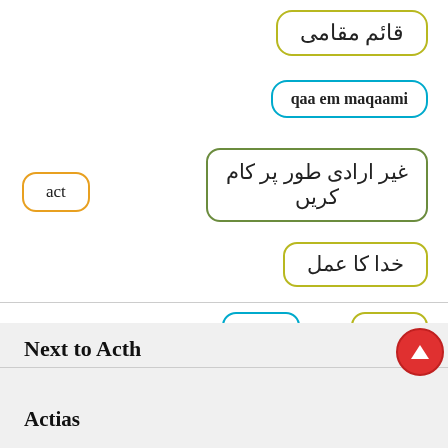act
قائم مقامی
qaa em maqaami
غیر ارادی طور پر کام کریں
خدا کا عمل
kaam
کام
Next to Acth
Actias